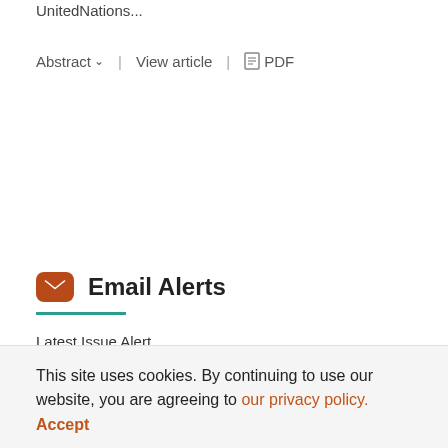UnitedNations...
Abstract ∨  |  View article  |  PDF
Email Alerts
Latest Issue Alert
This site uses cookies. By continuing to use our website, you are agreeing to our privacy policy. Accept